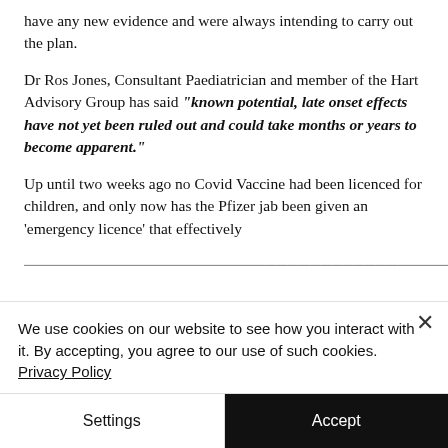have any new evidence and were always intending to carry out the plan.
Dr Ros Jones, Consultant Paediatrician and member of the Hart Advisory Group has said "known potential, late onset effects have not yet been ruled out and could take months or years to become apparent."
Up until two weeks ago no Covid Vaccine had been licenced for children, and only now has the Pfizer jab been given an 'emergency licence' that effectively [truncated]
We use cookies on our website to see how you interact with it. By accepting, you agree to our use of such cookies. Privacy Policy